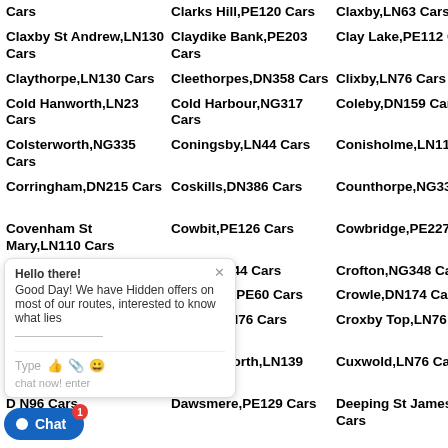Cars
Clarks Hill,PE120 Cars
Claxby,LN63 Cars
Ca
Claxby St Andrew,LN130 Cars
Claydike Bank,PE203 Cars
Clay Lake,PE112 Cars
Cl
Claythorpe,LN130 Cars
Cleethorpes,DN358 Cars
Clixby,LN76 Cars
Co
Cold Hanworth,LN23 Cars
Cold Harbour,NG317 Cars
Coleby,DN159 Cars
Co
Colsterworth,NG335 Cars
Coningsby,LN44 Cars
Conisholme,LN117 Cars
Co
Corringham,DN215 Cars
Coskills,DN386 Cars
Counthorpe,NG334 Cars
Co Ba
Covenham St Mary,LN110 Cars
Cowbit,PE126 Cars
Cowbridge,PE227 Cars
Cr
Creeto
Croft,PE244 Cars
Crofton,NG348 Cars
Cr
Crossg
Crowland,PE60 Cars
Crowle,DN174 Cars
Cr
Crowle Cars
Croxby,LN76 Cars
Croxby Top,LN76 Cars
Cr
Culver Cars
Cumberworth,LN139 Cars
Cuxwold,LN76 Cars
Da
D N96 Cars
Dawsmere,PE129 Cars
Deeping St James,PE68 Cars
De Ni
[Figure (screenshot): Chat widget overlay with a popup bubble saying 'Hello there! Good Day! We have Hidden offers on most of our routes, interested to know what lies' with a close button, type input area with emoji/attachment icons, and a blue Chat button with a red badge showing '1'.]